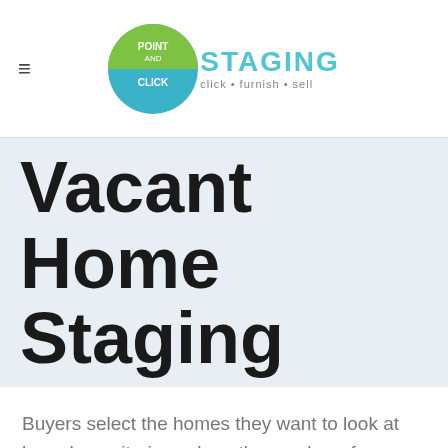Point and Click Staging — click • furnish • sell
Vacant Home Staging
Buyers select the homes they want to look at based on criteria such as the number of bedrooms, the neighborhood, lot size and home type. But they make the decision to BUY the home based on an emotional